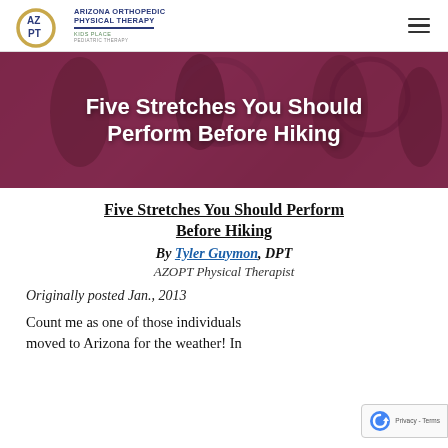Arizona Orthopedic Physical Therapy — Kids Place Pediatric Therapy
[Figure (photo): Hero banner with dark reddish-purple overlay showing blurred background of people in a gym/therapy setting]
Five Stretches You Should Perform Before Hiking
Five Stretches You Should Perform Before Hiking
By Tyler Guymon, DPT
AZOPT Physical Therapist
Originally posted Jan., 2013
Count me as one of those individuals moved to Arizona for the weather! In…